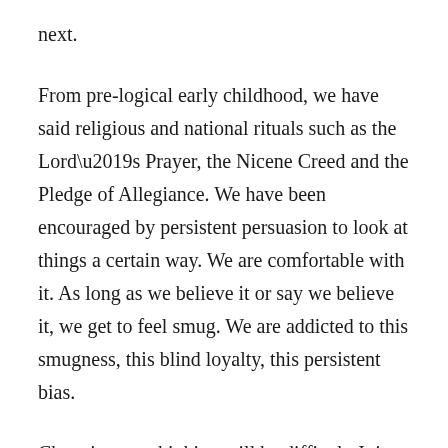next.
From pre-logical early childhood, we have said religious and national rituals such as the Lord’s Prayer, the Nicene Creed and the Pledge of Allegiance. We have been encouraged by persistent persuasion to look at things a certain way. We are comfortable with it. As long as we believe it or say we believe it, we get to feel smug. We are addicted to this smugness, this blind loyalty, this persistent bias.
Changing our thinking will be difficult. It is, however, necessary if the human race and dependent species are to survive the modern era. We cannot continue the errors of